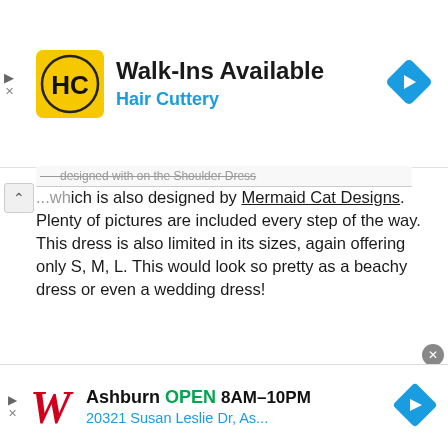[Figure (screenshot): Hair Cuttery advertisement banner: yellow square logo with HC initials, text 'Walk-Ins Available' in bold black, 'Hair Cuttery' in blue, and a blue diamond navigation arrow icon on the right]
which is also designed by Mermaid Cat Designs. Plenty of pictures are included every step of the way. This dress is also limited in its sizes, again offering only S, M, L. This would look so pretty as a beachy dress or even a wedding dress!
[Figure (photo): Photo of a woman with sunglasses sitting on a beach with white sand and blue water background]
[Figure (screenshot): Walgreens advertisement: Walgreens cursive W logo in red, text 'Ashburn OPEN 8AM-10PM' and '20321 Susan Leslie Dr, As...' in blue, with a blue diamond navigation arrow]